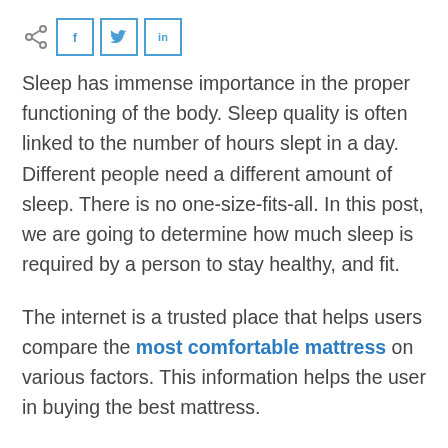[Figure (other): Social sharing bar with a share icon and three social media buttons: f (Facebook), bird/Twitter icon, and 'in' (LinkedIn), all outlined in blue.]
Sleep has immense importance in the proper functioning of the body. Sleep quality is often linked to the number of hours slept in a day. Different people need a different amount of sleep. There is no one-size-fits-all. In this post, we are going to determine how much sleep is required by a person to stay healthy, and fit.
The internet is a trusted place that helps users compare the most comfortable mattress on various factors. This information helps the user in buying the best mattress.